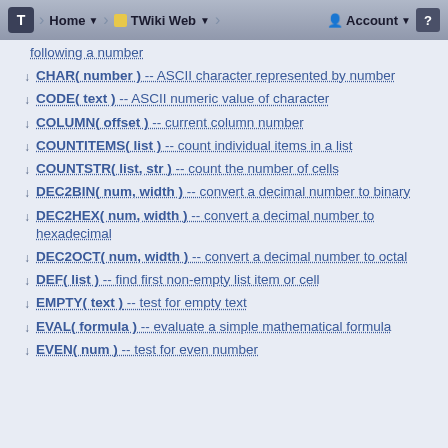T | Home | TWiki Web | Account | ?
following a number
CHAR( number ) -- ASCII character represented by number
CODE( text ) -- ASCII numeric value of character
COLUMN( offset ) -- current column number
COUNTITEMS( list ) -- count individual items in a list
COUNTSTR( list, str ) -- count the number of cells
DEC2BIN( num, width ) -- convert a decimal number to binary
DEC2HEX( num, width ) -- convert a decimal number to hexadecimal
DEC2OCT( num, width ) -- convert a decimal number to octal
DEF( list ) -- find first non-empty list item or cell
EMPTY( text ) -- test for empty text
EVAL( formula ) -- evaluate a simple mathematical formula
EVEN( num ) -- test for even number